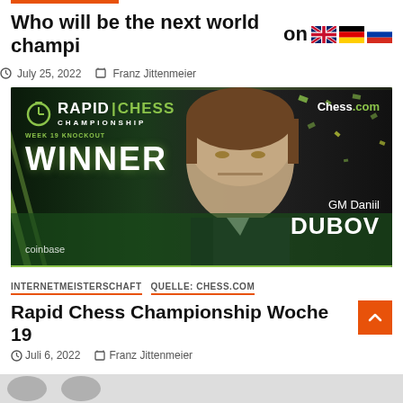Who will be the next world champion?
July 25, 2022   Franz Jittenmeier
[Figure (photo): Rapid Chess Championship Week 19 Knockout Winner banner featuring GM Daniil Dubov, with Chess.com and coinbase logos on dark green background]
INTERNETMEISTERSCHAFT   QUELLE: CHESS.COM
Rapid Chess Championship Woche 19
Juli 6, 2022   Franz Jittenmeier